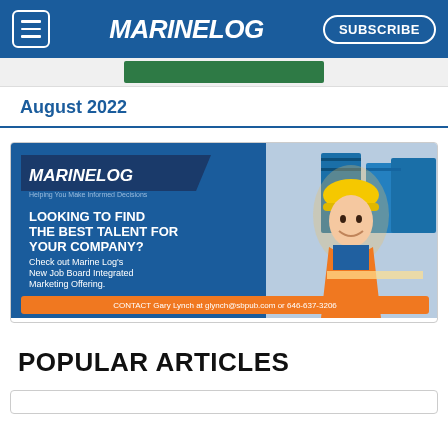MARINELOG | SUBSCRIBE
[Figure (illustration): Partial image strip at top of content area, showing green/teal imagery]
August 2022
[Figure (infographic): Marine Log advertisement banner. Blue panel with Marine Log logo and text: LOOKING TO FIND THE BEST TALENT FOR YOUR COMPANY? Check out Marine Log's New Job Board Integrated Marketing Offering. Orange bar at bottom: CONTACT Gary Lynch at glynch@sbpub.com or 646-637-3206. Right side shows a smiling man wearing yellow hard hat and orange safety vest with shipping containers in background.]
POPULAR ARTICLES